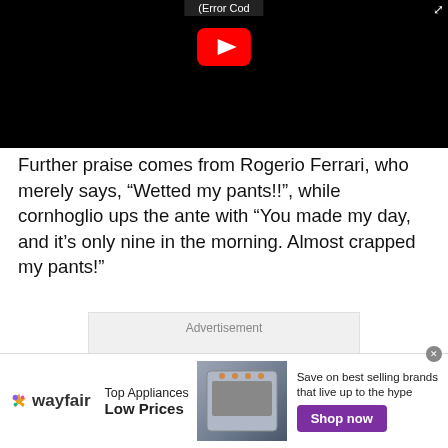[Figure (screenshot): YouTube video player showing an error, black background with YouTube play button logo and error code bar at the top]
Further praise comes from Rogerio Ferrari, who merely says, “Wetted my pants!!”, while cornhoglio ups the ante with “You made my day, and it’s only nine in the morning. Almost crapped my pants!”
[Figure (other): Advertisement placeholder box with text 'Advertisement']
[Figure (other): Wayfair banner advertisement: Top Appliances Low Prices, Save on best selling brands that live up to the hype, Shop now button]